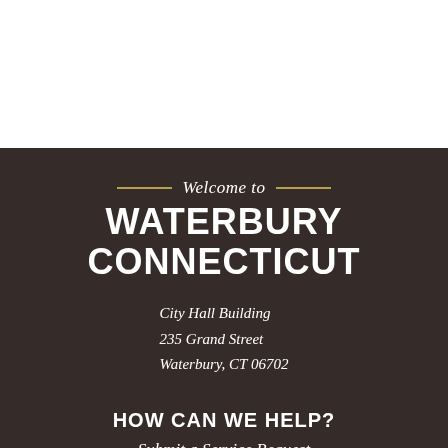Welcome to WATERBURY CONNECTICUT
City Hall Building
235 Grand Street
Waterbury, CT 06702
HOW CAN WE HELP?
Submit a Service Request